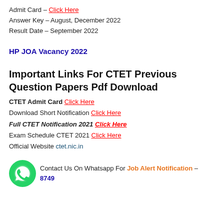Admit Card – Click Here
Answer Key – August, December 2022
Result Date – September 2022
HP JOA Vacancy 2022
Important Links For CTET Previous Question Papers Pdf Download
CTET Admit Card Click Here
Download Short Notification Click Here
Full CTET Notification 2021 Click Here
Exam Schedule CTET 2021 Click Here
Official Website ctet.nic.in
Contact Us On Whatsapp For Job Alert Notification – 8749